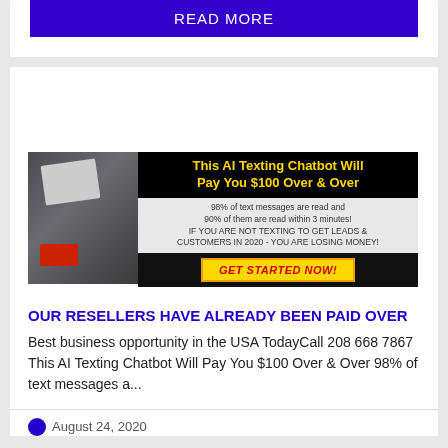READ MORE
[Figure (illustration): AI Texting Chatbot advertisement banner. Left side shows photo of calculator, notebook, and coins on a dark surface. Right side has black background with yellow bold text: 'This AI Texting Chatbot Will Pay You $100 Over & Over', white middle section with text '98% of text messages are read and 90% of them are read within 3 minutes! IF YOU ARE NOT TEXTING TO GET LEADS & CUSTOMERS IN 2020 - YOU ARE LOSING MONEY!', and black bottom with yellow button: 'GET STARTED NOW!']
OUR RESELLERS HAVE ALREADY BEEN PAID OVER
Best business opportunity in the USA TodayCall 208 668 7867 This AI Texting Chatbot Will Pay You $100 Over & Over 98% of text messages a...